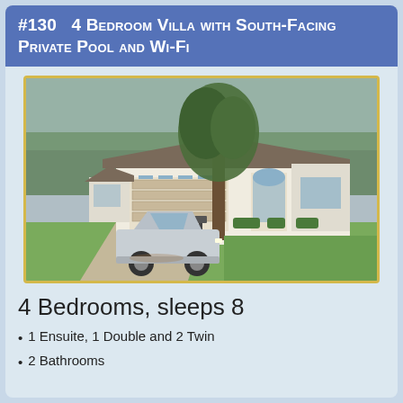#130  4 Bedroom Villa with South-Facing Private Pool and Wi-Fi
[Figure (photo): Exterior photo of a white single-story villa with a two-car garage, a silver sedan in the driveway, a large tree in the center, and green lawn, surrounded by trees in the background.]
4 Bedrooms, sleeps 8
1 Ensuite, 1 Double and 2 Twin
2 Bathrooms